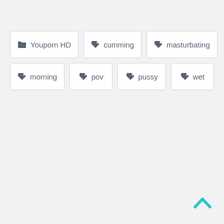📁 Youporn HD
🏷 cumming
🏷 masturbating
🏷 morning
🏷 pov
🏷 pussy
🏷 wet